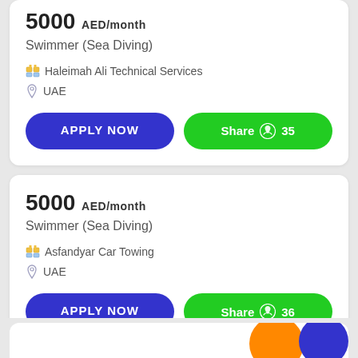5000 AED/month
Swimmer (Sea Diving)
Haleimah Ali Technical Services
UAE
APPLY NOW
Share 35
5000 AED/month
Swimmer (Sea Diving)
Asfandyar Car Towing
UAE
APPLY NOW
Share 36